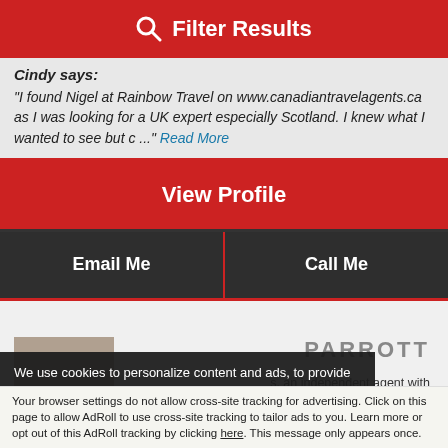Filter Results
Cindy says:
"I found Nigel at Rainbow Travel on www.canadiantravelagents.ca as I was looking for a UK expert especially Scotland. I knew what I wanted to see but c ..." Read More
View Profile
Email Me
Call Me
PARROTT
s, an independent agent with filiate Agency.
We use cookies to personalize content and ads, to provide social media features and to analyze our traffic. We also share information about your use of our site with our social media, advertising and analytic partners. You can...
Accept and Close ✕
Your browser settings do not allow cross-site tracking for advertising. Click on this page to allow AdRoll to use cross-site tracking to tailor ads to you. Learn more or opt out of this AdRoll tracking by clicking here. This message only appears once.